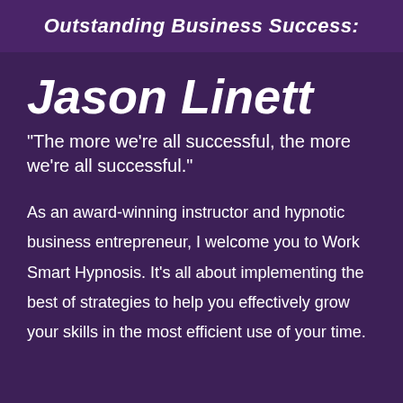Outstanding Business Success:
Jason Linett
"The more we’re all successful, the more we’re all successful."
As an award-winning instructor and hypnotic business entrepreneur, I welcome you to Work Smart Hypnosis. It’s all about implementing the best of strategies to help you effectively grow your skills in the most efficient use of your time.